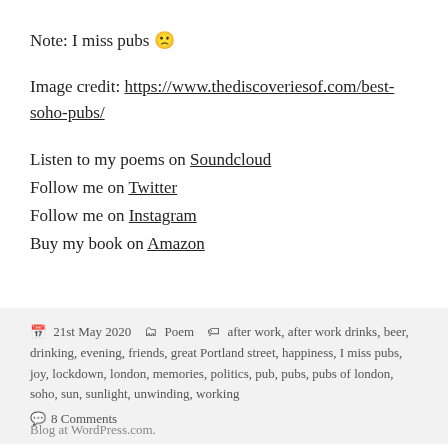Note: I miss pubs 🙁
Image credit: https://www.thediscoveriesof.com/best-soho-pubs/
Listen to my poems on Soundcloud
Follow me on Twitter
Follow me on Instagram
Buy my book on Amazon
21st May 2020   Poem   after work, after work drinks, beer, drinking, evening, friends, great Portland street, happiness, I miss pubs, joy, lockdown, london, memories, politics, pub, pubs, pubs of london, soho, sun, sunlight, unwinding, working
8 Comments
Blog at WordPress.com.